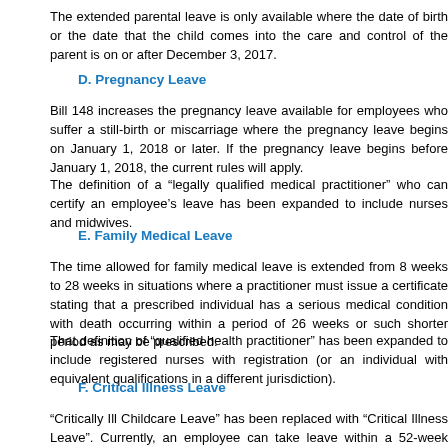The extended parental leave is only available where the date of birth or the date that the child comes into the care and control of the parent is on or after December 3, 2017.
D. Pregnancy Leave
Bill 148 increases the pregnancy leave available for employees who suffer a still-birth or miscarriage where the pregnancy leave begins on January 1, 2018 or later. If the pregnancy leave begins before January 1, 2018, the current rules will apply.
The definition of a “legally qualified medical practitioner” who can certify an employee’s leave has been expanded to include nurses and midwives.
E. Family Medical Leave
The time allowed for family medical leave is extended from 8 weeks to 28 weeks in situations where a practitioner must issue a certificate stating that a prescribed individual has a serious medical condition with death occurring within a period of 26 weeks or such shorter period as may be prescribed.
That definition of “qualified health practitioner” has been expanded to include registered nurses with registration (or an individual with equivalent qualifications in a different jurisdiction).
F. Critical Illness Leave
“Critically Ill Childcare Leave” has been replaced with “Critical Illness Leave”. Currently, an employee can take leave within a 52-week period for a parent or legal guardian to provide care and support to a child under age 18, subject to various conditions. This provision has been repealed, and the following substituted.
Under the new provisions, “critically ill” is defined as where an individual’s baseline state of health has significantly changed and their life is at risk as a result of an illness or injury.